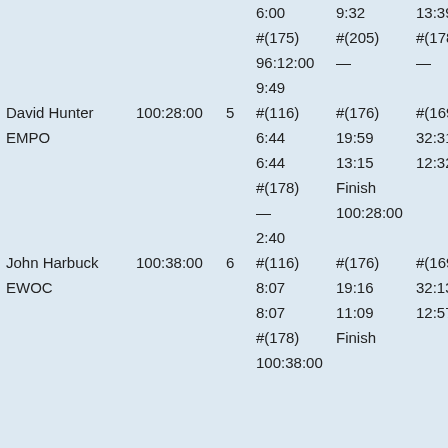| Name | Total Time | Pos | C1 | C2 | C3 |
| --- | --- | --- | --- | --- | --- |
|  |  |  | 6:00 | 9:32 | 13:39 |
|  |  |  | #(175) | #(205) | #(178) |
|  |  |  | 96:12:00 | — | — |
|  |  |  | 9:49 |  |  |
| David Hunter | 100:28:00 | 5 | #(116) | #(176) | #(169) |
| EMPO |  |  | 6:44 | 19:59 | 32:31: |
|  |  |  | 6:44 | 13:15 | 12:32 |
|  |  |  | #(178) | Finish |  |
|  |  |  | — | 100:28:00 |  |
|  |  |  | 2:40 |  |  |
| John Harbuck | 100:38:00 | 6 | #(116) | #(176) | #(169) |
| EWOC |  |  | 8:07 | 19:16 | 32:13: |
|  |  |  | 8:07 | 11:09 | 12:57 |
|  |  |  | #(178) | Finish |  |
|  |  |  | 100:38:00 |  |  |